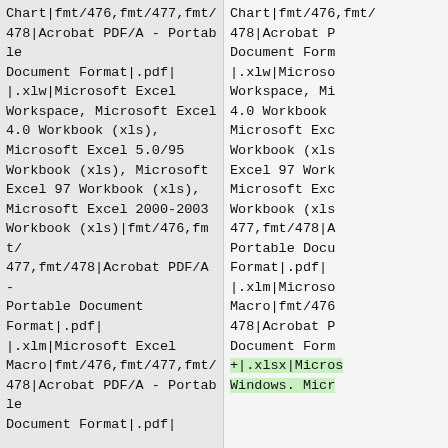|fmt|fmt/476,fmt/477,fmt/478|Acrobat PDF/A - Portable Document Format|.pdf||.xlw|Microsoft Excel Workspace, Microsoft Excel 4.0 Workbook (xls), Microsoft Excel 5.0/95 Workbook (xls), Microsoft Excel 97 Workbook (xls), Microsoft Excel 2000-2003 Workbook (xls)|fmt/476,fmt/477,fmt/478|Acrobat PDF/A - Portable Document Format|.pdf||.xlm|Microsoft Excel Macro|fmt/476,fmt/477,fmt/478|Acrobat PDF/A - Portable Document Format|.pdf|
|fmt|fmt/476,fmt/477,fmt/478|Acrobat PDF/A - Portable Document Format|.pdf||.xlw|Microsoft Excel Workspace, Microsoft Excel 4.0 Workbook (xls), Microsoft Excel 5.0/95 Workbook (xls), Microsoft Excel 97 Workbook (xls), Microsoft Excel 2000-2003 Workbook (xls)|fmt/476,fmt/477,fmt/478|Acrobat PDF/A - Portable Document Format|.pdf||.xlm|Microsoft Excel Macro|fmt/476,fmt/477,fmt/478|Acrobat PDF/A - Portable Document Format|.pdf|+|.xlsx|Microsoft Windows, Microsoft...